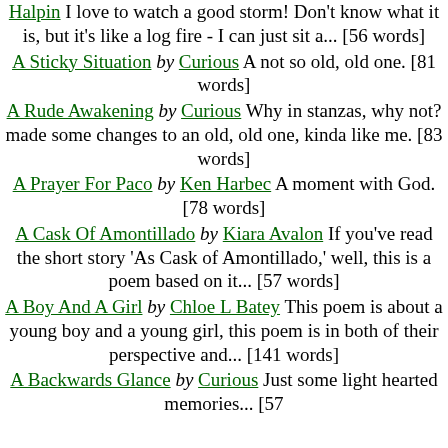Halpin I love to watch a good storm! Don't know what it is, but it's like a log fire - I can just sit a... [56 words]
A Sticky Situation by Curious A not so old, old one. [81 words]
A Rude Awakening by Curious Why in stanzas, why not? made some changes to an old, old one, kinda like me. [83 words]
A Prayer For Paco by Ken Harbec A moment with God. [78 words]
A Cask Of Amontillado by Kiara Avalon If you've read the short story 'As Cask of Amontillado,' well, this is a poem based on it... [57 words]
A Boy And A Girl by Chloe L Batey This poem is about a young boy and a young girl, this poem is in both of their perspective and... [141 words]
A Backwards Glance by Curious Just some light hearted memories... [57